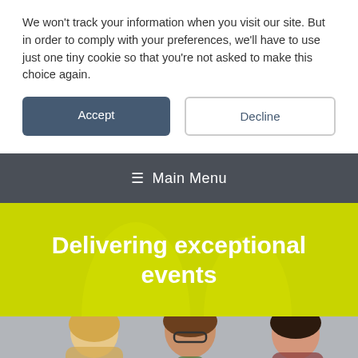We won't track your information when you visit our site. But in order to comply with your preferences, we'll have to use just one tiny cookie so that you're not asked to make this choice again.
[Figure (screenshot): Two buttons: Accept (dark blue-grey filled) and Decline (outlined)]
☰ Main Menu
Delivering exceptional events
[Figure (photo): Three women smiling, photographed against a grey background]